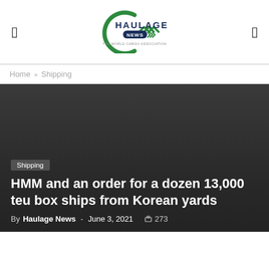Haulage News (logo) | navigation icons
Home » Shipping
[Figure (photo): Dark grey hero image background with article overlay]
Shipping
HMM and an order for a dozen 13,000 teu box ships from Korean yards
By Haulage News - June 3, 2021  273